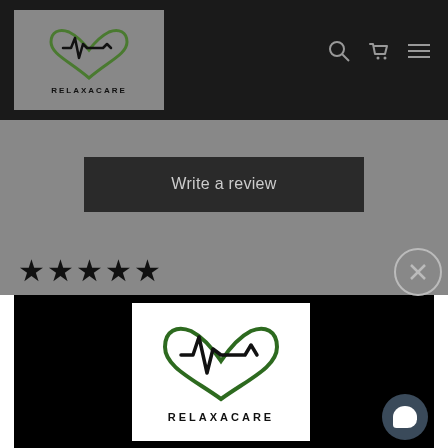[Figure (logo): Relaxacare logo in header - grey background box with heart/ECG logo and RELAXACARE text]
[Figure (screenshot): Navigation icons: search, cart, and hamburger menu in dark header bar]
Write a review
[Figure (other): Five black star rating]
[Figure (logo): Relaxacare logo on white background centered in black content area - heart/ECG logo with RELAXACARE text]